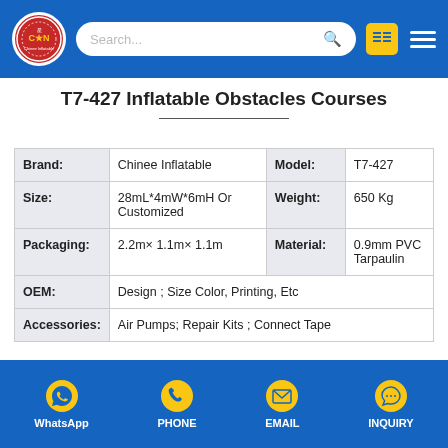Chinee Inflatable — Search bar, list icon, menu icon
T7-427 Inflatable Obstacles Courses
| Brand: | Chinee Inflatable | Model: | T7-427 |
| Size: | 28mL*4mW*6mH Or Customized | Weight: | 650 Kg |
| Packaging: | 2.2m× 1.1m× 1.1m | Material: | 0.9mm PVC Tarpaulin |
| OEM: | Design ; Size Color, Printing, Etc |  |  |
| Accessories: | Air Pumps; Repair Kits ; Connect Tape |  |  |
WhatsApp | PHONE | EMAIL | INQUIRY